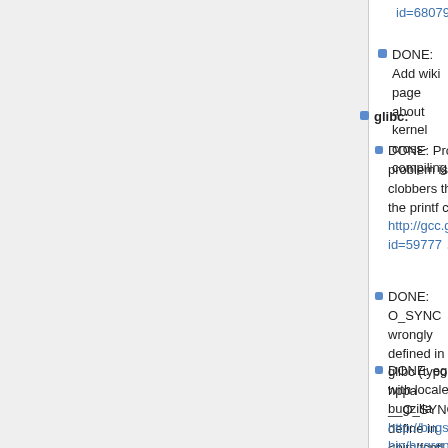id=68079 🔒
DONE: Add wiki page about kernel cross-compiling
glibc:
DONE: Problem building libcap-ng...The problem is the call to __tls_get_addr clobbers the value loaded into %r26 for the printf call. -> http://gcc.gnu.org/bugzilla/show_bug.cgi?id=59777
DONE: O_SYNC wrongly defined in glibc (typo in hppa __O_SYNC define in <bits/fcntl.h>)
DONE: eglibc mmap bug with localedef (see debian bugzilla http://bugs.debian.org/cgi-bin/bugreport.cgi?bug=741243 )
DONE: Wrong __gmon_start__ symbol, showed in vlc - linker does not drop dependencies to unneeded shared libs, https://bugs.debian.org/cgi-bin/bugreport.cgi?bug=770741 🔒. glibc bug report: